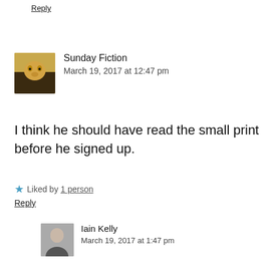Reply
Sunday Fiction
March 19, 2017 at 12:47 pm
I think he should have read the small print before he signed up.
★ Liked by 1 person
Reply
Iain Kelly
March 19, 2017 at 1:47 pm